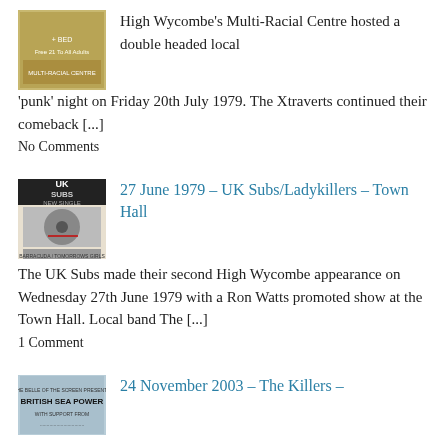[Figure (photo): Small thumbnail image of a punk event flyer or record sleeve, yellowish tones]
High Wycombe's Multi-Racial Centre hosted a double headed local 'punk' night on Friday 20th July 1979. The Xtraverts continued their comeback […]
No Comments
[Figure (photo): UK Subs New Single promotional image/flyer thumbnail]
27 June 1979 – UK Subs/Ladykillers – Town Hall
The UK Subs made their second High Wycombe appearance on Wednesday 27th June 1979 with a Ron Watts promoted show at the Town Hall.  Local band The […]
1 Comment
[Figure (photo): British Sea Power promotional image/flyer thumbnail]
24 November 2003 – The Killers –